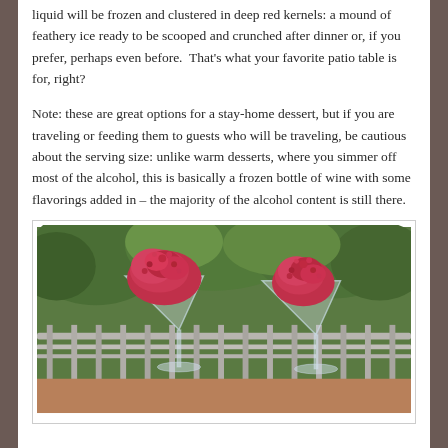liquid will be frozen and clustered in deep red kernels: a mound of feathery ice ready to be scooped and crunched after dinner or, if you prefer, perhaps even before.  That's what your favorite patio table is for, right?
Note: these are great options for a stay-home dessert, but if you are traveling or feeding them to guests who will be traveling, be cautious about the serving size: unlike warm desserts, where you simmer off most of the alcohol, this is basically a frozen bottle of wine with some flavorings added in – the majority of the alcohol content is still there.
[Figure (photo): Two martini glasses filled with bright pink/red granita or frozen wine slush, sitting outdoors on a patio table with a wooden railing and green trees in the background.]